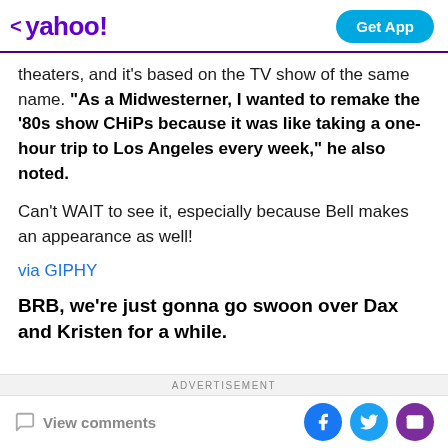yahoo! | Get App
theaters, and it's based on the TV show of the same name. “As a Midwesterner, I wanted to remake the ‘80s show CHiPs because it was like taking a one-hour trip to Los Angeles every week,” he also noted.
Can’t WAIT to see it, especially because Bell makes an appearance as well!
via GIPHY
BRB, we’re just gonna go swoon over Dax and Kristen for a while.
ADVERTISEMENT | View comments